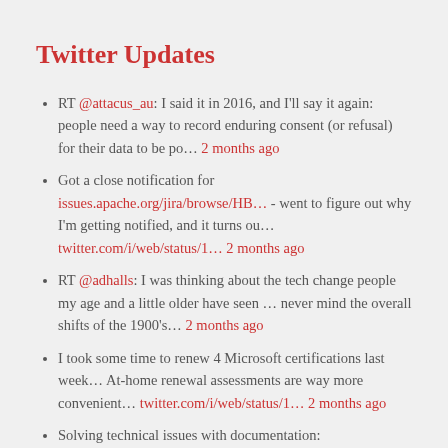Twitter Updates
RT @attacus_au: I said it in 2016, and I'll say it again: people need a way to record enduring consent (or refusal) for their data to be po… 2 months ago
Got a close notification for issues.apache.org/jira/browse/HB… - went to figure out why I'm getting notified, and it turns ou… twitter.com/i/web/status/1… 2 months ago
RT @adhalls: I was thinking about the tech change people my age and a little older have seen … never mind the overall shifts of the 1900's… 2 months ago
I took some time to renew 4 Microsoft certifications last week… At-home renewal assessments are way more convenient… twitter.com/i/web/status/1… 2 months ago
Solving technical issues with documentation: